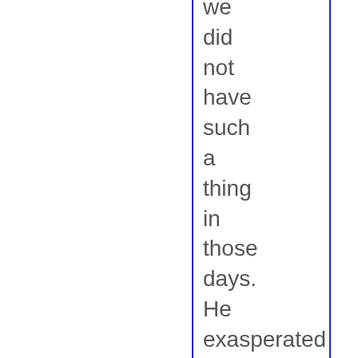we did not have such a thing in those days. He exasperated his parents, the rest of the family, hi